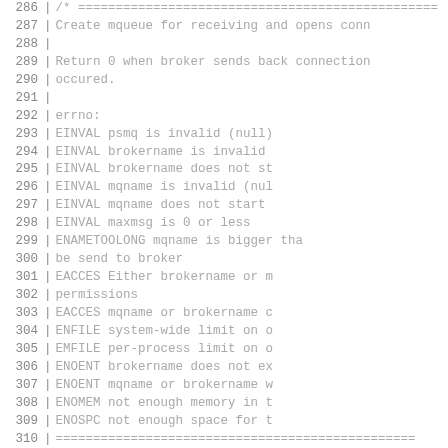Code listing lines 286-315, showing C source code documentation comment and function signature for psmq_init
286: /* ============================================================
287:     Create mqueue for receiving and opens conn
288: (blank)
289:     Return 0 when broker sends back connection
290:     occured.
291: (blank)
292:     errno:
293:         EINVAL      psmq is invalid (null)
294:         EINVAL      brokername is invalid
295:         EINVAL      brokername does not st
296:         EINVAL      mqname is invalid (nul
297:         EINVAL      mqname does not start
298:         EINVAL      maxmsg is 0 or less
299:         ENAMETOOLONG mqname is bigger tha
300:                     be send to broker
301:         EACCES      Either brokername or m
302:                     permissions
303:         EACCES      mqname or brokername c
304:         ENFILE      system-wide limit on o
305:         EMFILE      per-process limit on o
306:         ENOENT      brokername does not ex
307:         ENOENT      mqname or brokername w
308:         ENOMEM      not enough memory in t
309:         ENOSPC      not enough space for t
310:    ==========================================================
311: (blank)
312: (blank)
313: int psmq_init
314: (
315:         struct psmq     *psmq,      /* psmq